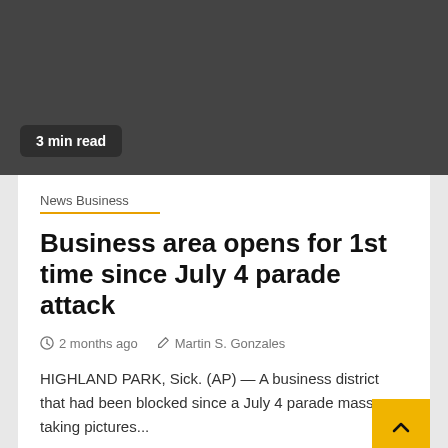[Figure (photo): Dark gray image placeholder area at the top of the page]
3 min read
News Business
Business area opens for 1st time since July 4 parade attack
2 months ago   Martin S. Gonzales
HIGHLAND PARK, Sick. (AP) — A business district that had been blocked since a July 4 parade mass taking pictures...